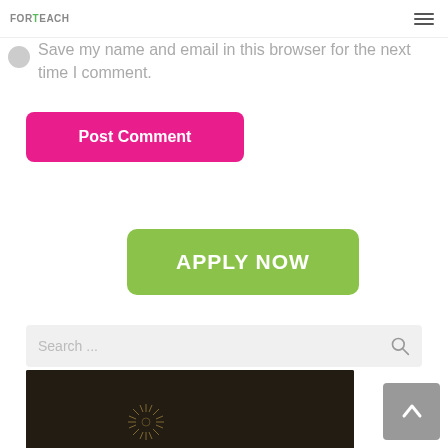FORTEACH
Save my name and email in this browser for the next time I comment.
Post Comment
[Figure (other): Green APPLY NOW button]
[Figure (other): Search bar with magnifying glass icon]
[Figure (other): Back to top arrow button (gray rounded square)]
[Figure (photo): Dark image with firework/starburst decoration at bottom of page]